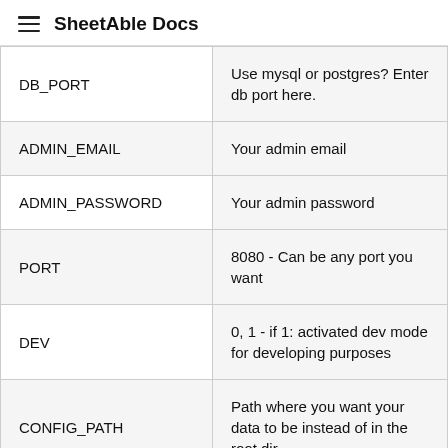SheetAble Docs
| Variable | Description |
| --- | --- |
| DB_PORT | Use mysql or postgres? Enter db port here. |
| ADMIN_EMAIL | Your admin email |
| ADMIN_PASSWORD | Your admin password |
| PORT | 8080 - Can be any port you want |
| DEV | 0, 1 - if 1: activated dev mode for developing purposes |
| CONFIG_PATH | Path where you want your data to be instead of in the root dir |